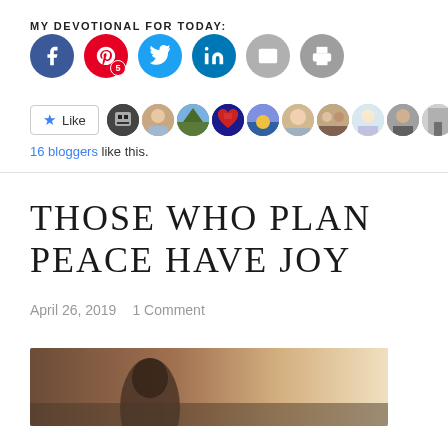MY DEVOTIONAL FOR TODAY:
[Figure (infographic): Social share buttons: Facebook (blue circle), Pinterest (red circle with badge '5'), Twitter (cyan circle), LinkedIn (blue circle), Email (gray circle), Print (gray circle)]
[Figure (infographic): Like button with star icon and 10 blogger avatar thumbnails]
16 bloggers like this.
THOSE WHO PLAN PEACE HAVE JOY
April 26, 2019   1 Comment
[Figure (photo): Blurred photo of a person outdoors, warm light background, bottom portion of page]